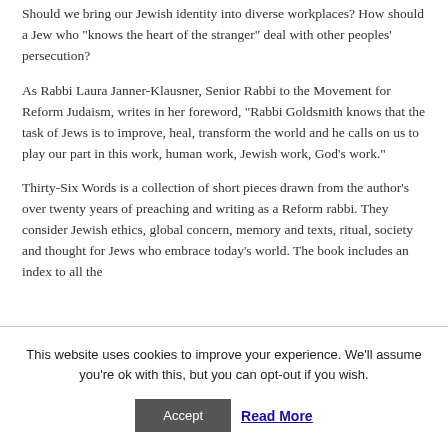Should we bring our Jewish identity into diverse workplaces? How should a Jew who “knows the heart of the stranger” deal with other peoples’ persecution?
As Rabbi Laura Janner-Klausner, Senior Rabbi to the Movement for Reform Judaism, writes in her foreword, “Rabbi Goldsmith knows that the task of Jews is to improve, heal, transform the world and he calls on us to play our part in this work, human work, Jewish work, God’s work.”
Thirty-Six Words is a collection of short pieces drawn from the author’s over twenty years of preaching and writing as a Reform rabbi. They consider Jewish ethics, global concern, memory and texts, ritual, society and thought for Jews who embrace today’s world. The book includes an index to all the
This website uses cookies to improve your experience. We'll assume you're ok with this, but you can opt-out if you wish.
Accept   Read More